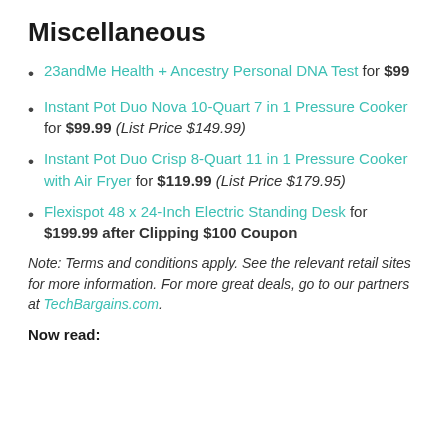Miscellaneous
23andMe Health + Ancestry Personal DNA Test for $99
Instant Pot Duo Nova 10-Quart 7 in 1 Pressure Cooker for $99.99 (List Price $149.99)
Instant Pot Duo Crisp 8-Quart 11 in 1 Pressure Cooker with Air Fryer for $119.99 (List Price $179.95)
Flexispot 48 x 24-Inch Electric Standing Desk for $199.99 after Clipping $100 Coupon
Note: Terms and conditions apply. See the relevant retail sites for more information. For more great deals, go to our partners at TechBargains.com.
Now read: